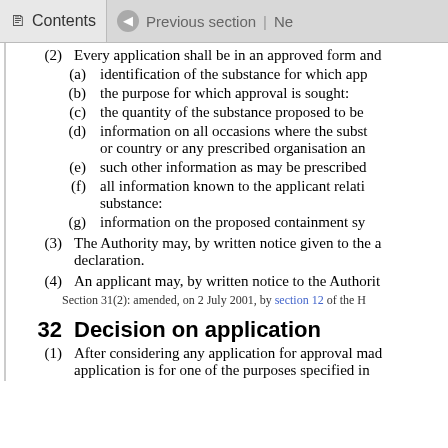Contents | Previous section | Ne...
(2) Every application shall be in an approved form and...
(a) identification of the substance for which app...
(b) the purpose for which approval is sought:
(c) the quantity of the substance proposed to be...
(d) information on all occasions where the subst... or country or any prescribed organisation an...
(e) such other information as may be prescribed...
(f) all information known to the applicant relati... substance:
(g) information on the proposed containment sy...
(3) The Authority may, by written notice given to the a... declaration.
(4) An applicant may, by written notice to the Authorit...
Section 31(2): amended, on 2 July 2001, by section 12 of the H...
32 Decision on application
(1) After considering any application for approval mad... application is for one of the purposes specified in...